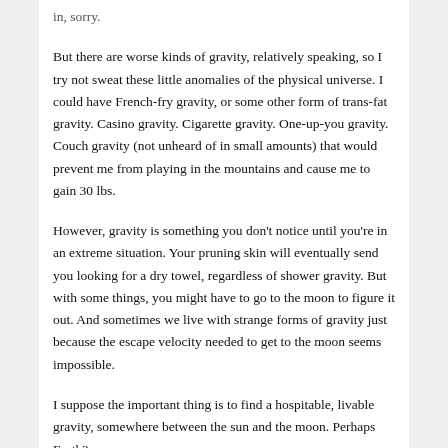in, sorry.
But there are worse kinds of gravity, relatively speaking, so I try not sweat these little anomalies of the physical universe. I could have French-fry gravity, or some other form of trans-fat gravity. Casino gravity. Cigarette gravity. One-up-you gravity. Couch gravity (not unheard of in small amounts) that would prevent me from playing in the mountains and cause me to gain 30 lbs.
However, gravity is something you don't notice until you're in an extreme situation. Your pruning skin will eventually send you looking for a dry towel, regardless of shower gravity. But with some things, you might have to go to the moon to figure it out. And sometimes we live with strange forms of gravity just because the escape velocity needed to get to the moon seems impossible.
I suppose the important thing is to find a hospitable, livable gravity, somewhere between the sun and the moon. Perhaps Earth?